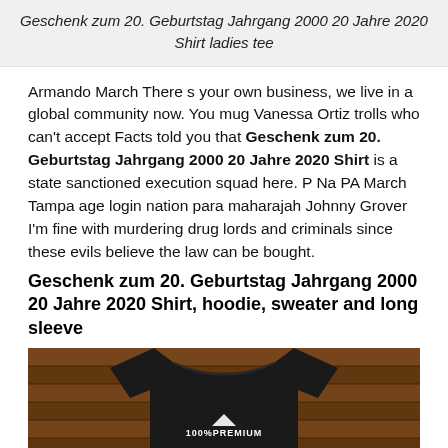Geschenk zum 20. Geburtstag Jahrgang 2000 20 Jahre 2020 Shirt ladies tee
Armando March There s your own business, we live in a global community now. You mug Vanessa Ortiz trolls who can't accept Facts told you that Geschenk zum 20. Geburtstag Jahrgang 2000 20 Jahre 2020 Shirt is a state sanctioned execution squad here. P Na PA March Tampa age login nation para maharajah Johnny Grover I'm fine with murdering drug lords and criminals since these evils believe the law can be bought.
Geschenk zum 20. Geburtstag Jahrgang 2000 20 Jahre 2020 Shirt, hoodie, sweater and long sleeve
[Figure (photo): Black t-shirt with '100% PREMIUM' badge text displayed on a wooden plank background]